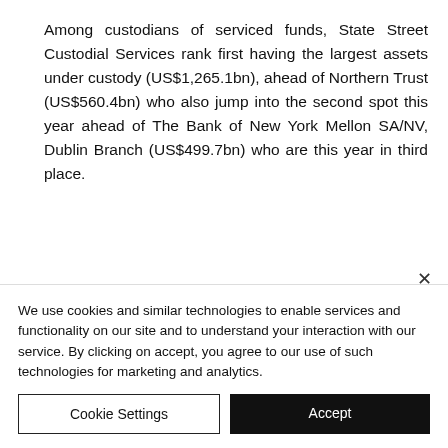Among custodians of serviced funds, State Street Custodial Services rank first having the largest assets under custody (US$1,265.1bn), ahead of Northern Trust (US$560.4bn) who also jump into the second spot this year ahead of The Bank of New York Mellon SA/NV, Dublin Branch (US$499.7bn) who are this year in third place.
We use cookies and similar technologies to enable services and functionality on our site and to understand your interaction with our service. By clicking on accept, you agree to our use of such technologies for marketing and analytics.